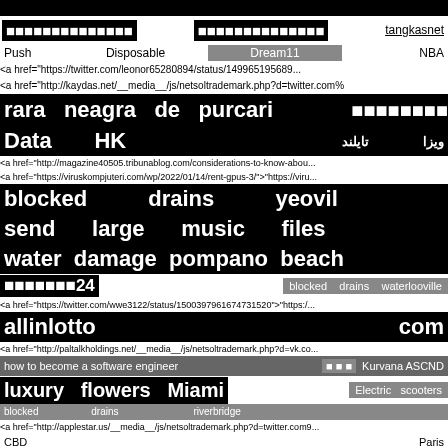[blocked content rows with mixed language text, URLs, and keyword spam]